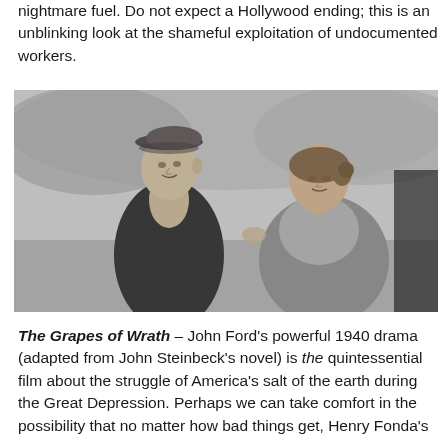nightmare fuel. Do not expect a Hollywood ending; this is an unblinking look at the shameful exploitation of undocumented workers.
[Figure (photo): Black and white still from The Grapes of Wrath (1940). A tall thin man wearing a flat cap and dark jacket stands looking upward to the left. A woman in a knitted shawl stands beside him, looking up at him with her hand raised toward his chest.]
The Grapes of Wrath – John Ford's powerful 1940 drama (adapted from John Steinbeck's novel) is the quintessential film about the struggle of America's salt of the earth during the Great Depression. Perhaps we can take comfort in the possibility that no matter how bad things get, Henry Fonda's